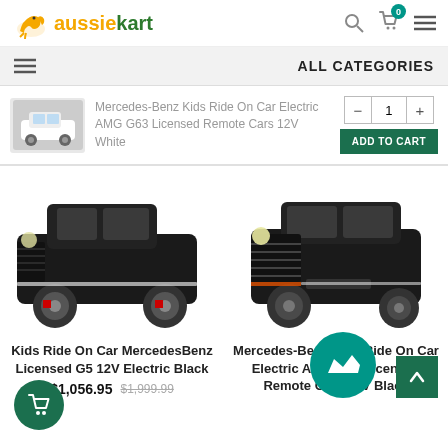aussiekart — ALL CATEGORIES
Mercedes-Benz Kids Ride On Car Electric AMG G63 Licensed Remote Cars 12V White
ADD TO CART
[Figure (photo): Black Mercedes-Benz G63 kids ride-on car, left side view]
[Figure (photo): Black Mercedes-Benz AMG G63 kids ride-on car, front-right view]
Kids Ride On Car MercedesBenz Licensed G5 12V Electric Black
$1,056.95  $1,999.99
Mercedes-Benz Kids Ride On Car Electric AMG G63 Licensed Remote Cars 12V Black